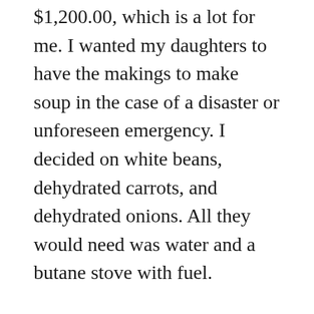it is a big mistake and costly as well. I spent $1,200.00, which is a lot for me. I wanted my daughters to have the makings to make soup in the case of a disaster or unforeseen emergency. I decided on white beans, dehydrated carrots, and dehydrated onions. All they would need was water and a butane stove with fuel.
A year later my daughter who helped us can the dry goods called me after she opened a can of the dehydrated carrots and said: “these smell rancid”. I ran to open one of my cans, then another and another. Every can was rancid. The color was off and the smell was for sure bad. This was a costly mistake for me, one I cannot afford to make. Yes we had